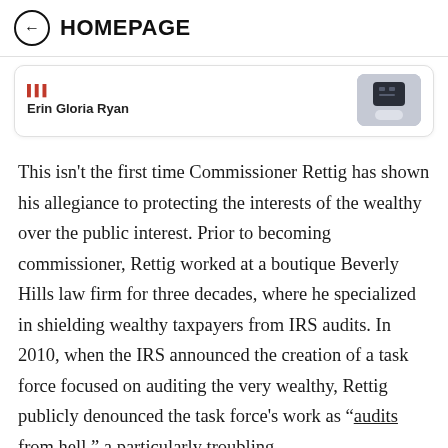HOMEPAGE
Erin Gloria Ryan
This isn't the first time Commissioner Rettig has shown his allegiance to protecting the interests of the wealthy over the public interest. Prior to becoming commissioner, Rettig worked at a boutique Beverly Hills law firm for three decades, where he specialized in shielding wealthy taxpayers from IRS audits. In 2010, when the IRS announced the creation of a task force focused on auditing the very wealthy, Rettig publicly denounced the task force's work as “audits from hell,” a particularly troubling